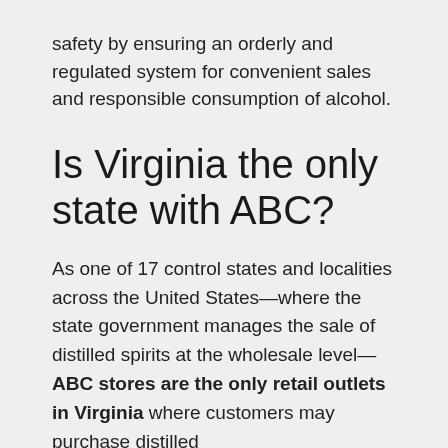safety by ensuring an orderly and regulated system for convenient sales and responsible consumption of alcohol.
Is Virginia the only state with ABC?
As one of 17 control states and localities across the United States—where the state government manages the sale of distilled spirits at the wholesale level—ABC stores are the only retail outlets in Virginia where customers may purchase distilled